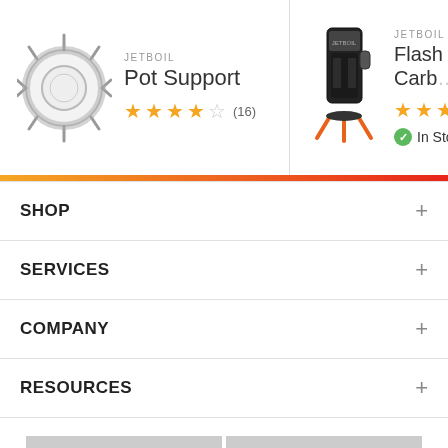[Figure (screenshot): Product card for Jetboil Pot Support with image of a metal ring with spikes, brand label JETBOIL, 3.5 star rating (16 reviews)]
[Figure (screenshot): Product card for Jetboil Flash Carbon with image of a black camping stove, brand label JETBOIL, 5 star rating, In Stock badge]
SHOP
SERVICES
COMPANY
RESOURCES
English    $ USD
[Figure (illustration): Social media icons: Reddit, Facebook, LinkedIn, Twitter]